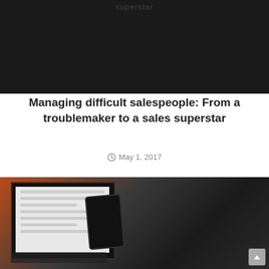[Figure (photo): Dark background image with partially visible text 'superstar' at the top in gray]
Managing difficult salespeople: From a troublemaker to a sales superstar
May 1, 2017
[Figure (photo): Person sitting at a desk holding a smartphone, with a computer monitor displaying a webpage in the background. Orange/red wall visible behind. Dark and moody lighting.]